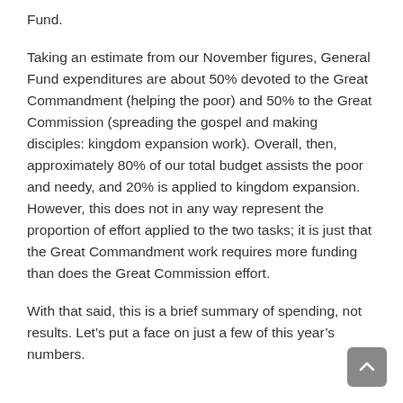Fund.
Taking an estimate from our November figures, General Fund expenditures are about 50% devoted to the Great Commandment (helping the poor) and 50% to the Great Commission (spreading the gospel and making disciples: kingdom expansion work). Overall, then, approximately 80% of our total budget assists the poor and needy, and 20% is applied to kingdom expansion. However, this does not in any way represent the proportion of effort applied to the two tasks; it is just that the Great Commandment work requires more funding than does the Great Commission effort.
With that said, this is a brief summary of spending, not results. Let's put a face on just a few of this year's numbers.